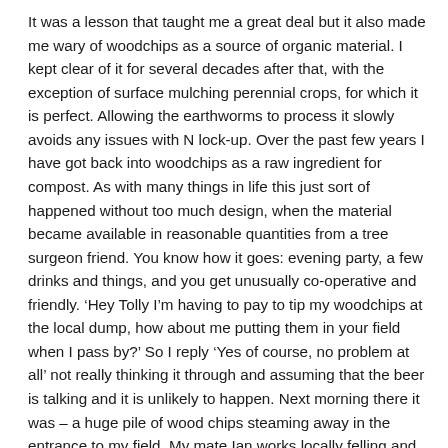It was a lesson that taught me a great deal but it also made me wary of woodchips as a source of organic material. I kept clear of it for several decades after that, with the exception of surface mulching perennial crops, for which it is perfect. Allowing the earthworms to process it slowly avoids any issues with N lock-up. Over the past few years I have got back into woodchips as a raw ingredient for compost. As with many things in life this just sort of happened without too much design, when the material became available in reasonable quantities from a tree surgeon friend. You know how it goes: evening party, a few drinks and things, and you get unusually co-operative and friendly. ‘Hey Tolly I’m having to pay to tip my woodchips at the local dump, how about me putting them in your field when I pass by?’ So I reply ‘Yes of course, no problem at all’ not really thinking it through and assuming that the beer is talking and it is unlikely to happen. Next morning there it was – a huge pile of wood chips steaming away in the entrance to my field. My mate Ian works locally felling and tidying people’s trees, mostly ornamental stuff with plenty of Cupressus Leylandii.